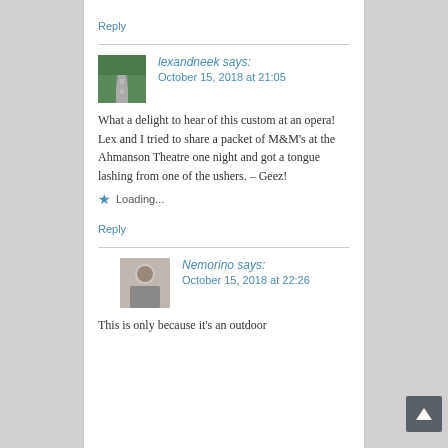Reply
lexandneek says:
October 15, 2018 at 21:05
What a delight to hear of this custom at an opera! Lex and I tried to share a packet of M&M's at the Ahmanson Theatre one night and got a tongue lashing from one of the ushers. – Geez!
Loading...
Reply
Nemorino says:
October 15, 2018 at 22:26
This is only because it's an outdoor